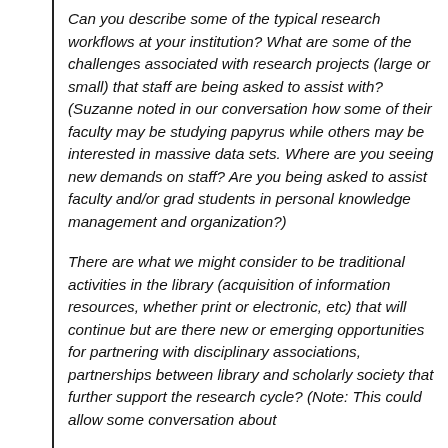Can you describe some of the typical research workflows at your institution? What are some of the challenges associated with research projects (large or small) that staff are being asked to assist with? (Suzanne noted in our conversation how some of their faculty may be studying papyrus while others may be interested in massive data sets. Where are you seeing new demands on staff? Are you being asked to assist faculty and/or grad students in personal knowledge management and organization?)
There are what we might consider to be traditional activities in the library (acquisition of information resources, whether print or electronic, etc) that will continue but are there new or emerging opportunities for partnering with disciplinary associations, partnerships between library and scholarly society that further support the research cycle? (Note: This could allow some conversation about